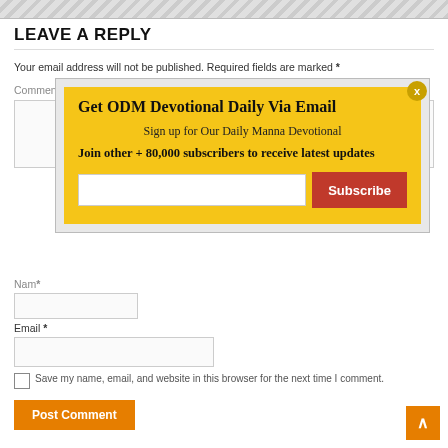LEAVE A REPLY
Your email address will not be published. Required fields are marked *
Comment *
[Figure (screenshot): Email subscription popup with yellow background: 'Get ODM Devotional Daily Via Email', 'Sign up for Our Daily Manna Devotional', 'Join other + 80,000 subscribers to receive latest updates', email input field, and red Subscribe button]
Name *
Email *
Save my name, email, and website in this browser for the next time I comment.
Post Comment